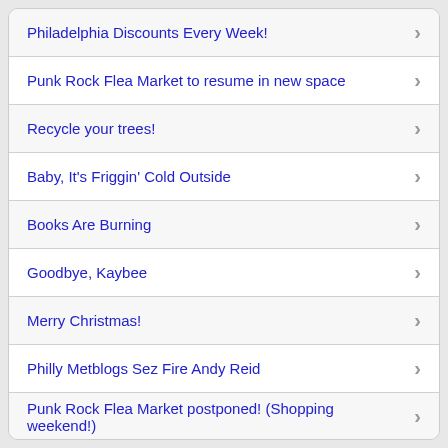Philadelphia Discounts Every Week!
Punk Rock Flea Market to resume in new space
Recycle your trees!
Baby, It's Friggin' Cold Outside
Books Are Burning
Goodbye, Kaybee
Merry Christmas!
Philly Metblogs Sez Fire Andy Reid
Punk Rock Flea Market postponed! (Shopping weekend!)